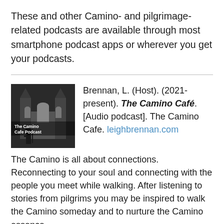These and other Camino- and pilgrimage-related podcasts are available through most smartphone podcast apps or wherever you get your podcasts.
[Figure (photo): Black and white image of The Camino Cafe Podcast logo showing a cathedral and a pilgrim silhouette with text overlay 'The Camino Cafe Podcast']
Brennan, L. (Host). (2021-present). The Camino Café. [Audio podcast]. The Camino Cafe. leighbrennan.com
The Camino is all about connections. Reconnecting to your soul and connecting with the people you meet while walking. After listening to stories from pilgrims you may be inspired to walk the Camino someday and to nurture the Camino essence